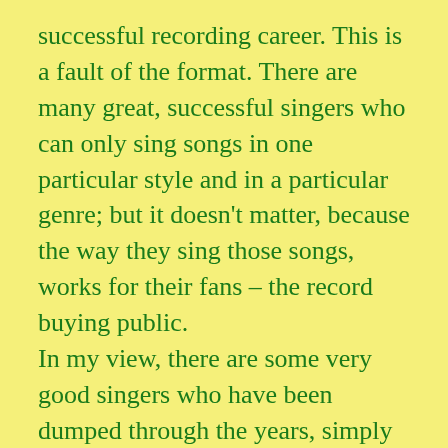successful recording career. This is a fault of the format. There are many great, successful singers who can only sing songs in one particular style and in a particular genre; but it doesn't matter, because the way they sing those songs, works for their fans – the record buying public.
In my view, there are some very good singers who have been dumped through the years, simply because they are not versatile. A good example in this year's batch would be poor Craig Colton, who has a great voice and is a very talented singer, but week after week he was given songs that simply did not suit him at all. We all know – and he knows – the type of song